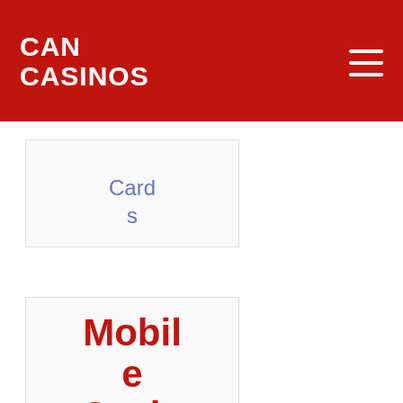CAN CASINOS
Cards
Mobile Casinos
iPhone Casinos Pla...